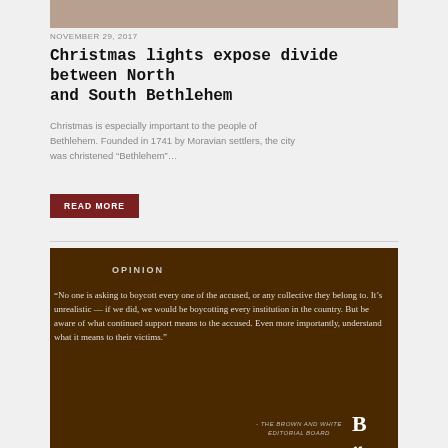[Figure (photo): Partial photo strip at top of page showing a colorful indoor scene]
NOVEMBER 29, 2017
Christmas lights expose divide between North and South Bethlehem
Christmas is especially important to the people of Bethlehem. Founded in 1741 by Moravian settlers, the city was christened “Bethlehem”…
READ MORE
OPINION
“No one is asking to boycott every one of the accused, or any collective they belong to. It’s unrealistic — if we did, we would be boycotting every institution in the country. But be aware of what continued support means to the accused. Even more importantly, understand what it means to their victims.”
- THE BROWN AND WHITE EDITORIAL BOARD